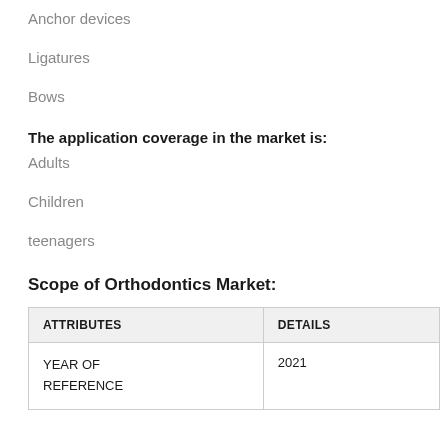Anchor devices
Ligatures
Bows
The application coverage in the market is:
Adults
Children
teenagers
Scope of Orthodontics Market:
| ATTRIBUTES | DETAILS |
| --- | --- |
| YEAR OF REFERENCE | 2021 |